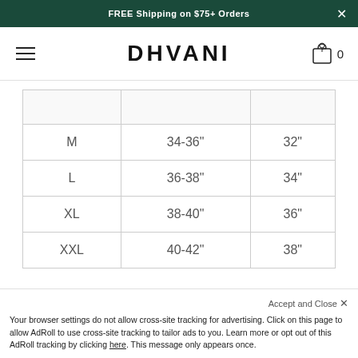FREE Shipping on $75+ Orders
[Figure (logo): DHVANI brand logo with hamburger menu and bag icon]
| M | 34-36" | 32" |
| L | 36-38" | 34" |
| XL | 38-40" | 36" |
| XXL | 40-42" | 38" |
[Figure (infographic): Social share buttons: Twitter (blue bird), Facebook (f), Pinterest (red P), Email (envelope)]
Accept and Close ✕
Your browser settings do not allow cross-site tracking for advertising. Click on this page to allow AdRoll to use cross-site tracking to tailor ads to you. Learn more or opt out of this AdRoll tracking by clicking here. This message only appears once.